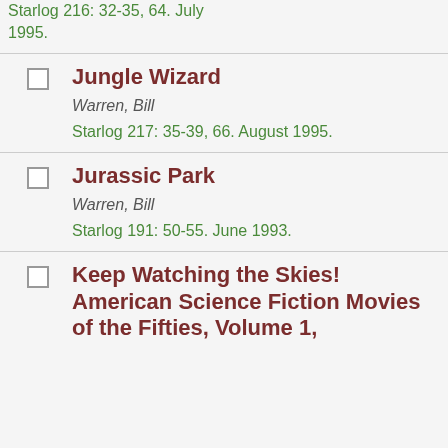Starlog 216: 32-35, 64. July 1995.
Jungle Wizard
Warren, Bill
Starlog 217: 35-39, 66. August 1995.
Jurassic Park
Warren, Bill
Starlog 191: 50-55. June 1993.
Keep Watching the Skies! American Science Fiction Movies of the Fifties, Volume 1,